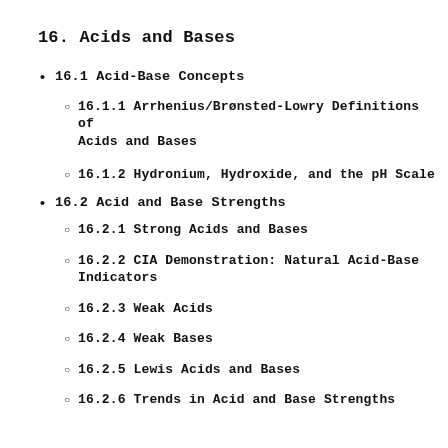16. Acids and Bases
16.1 Acid-Base Concepts
16.1.1 Arrhenius/Brønsted-Lowry Definitions of Acids and Bases
16.1.2 Hydronium, Hydroxide, and the pH Scale
16.2 Acid and Base Strengths
16.2.1 Strong Acids and Bases
16.2.2 CIA Demonstration: Natural Acid-Base Indicators
16.2.3 Weak Acids
16.2.4 Weak Bases
16.2.5 Lewis Acids and Bases
16.2.6 Trends in Acid and Base Strengths